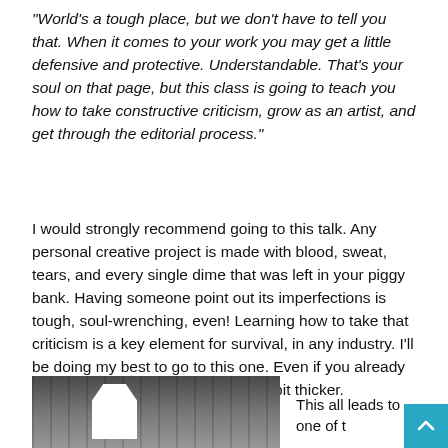“World’s a tough place, but we don’t have to tell you that. When it comes to your work you may get a little defensive and protective. Understandable. That’s your soul on that page, but this class is going to teach you how to take constructive criticism, grow as an artist, and get through the editorial process.”
I would strongly recommend going to this talk. Any personal creative project is made with blood, sweat, tears, and every single dime that was left in your piggy bank. Having someone point out its imperfections is tough, soul-wrenching, even! Learning how to take that criticism is a key element for survival, in any industry. I’ll be doing my best to go to this one. Even if you already have thick skin, it can always get a bit thicker.
[Figure (photo): A photograph showing what appears to be a bookshelf or display with items; a white cutout shape is visible in the foreground]
This all leads to one of t